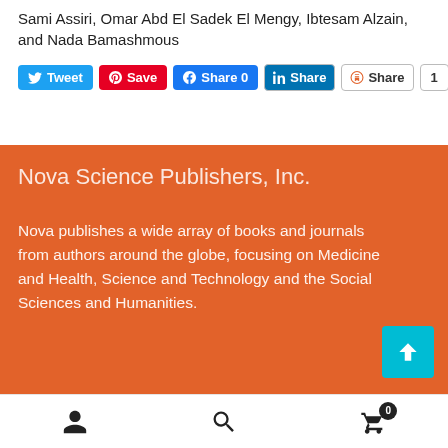Sami Assiri, Omar Abd El Sadek El Mengy, Ibtesam Alzain, and Nada Bamashmous
[Figure (screenshot): Social sharing buttons row: Tweet (Twitter/blue), Save (Pinterest/red), Share 0 (Facebook/blue), Share (LinkedIn/blue-white), Share (bookmark/red-white), count badge 1]
Nova Science Publishers, Inc.
Nova publishes a wide array of books and journals from authors around the globe, focusing on Medicine and Health, Science and Technology and the Social Sciences and Humanities.
[Figure (screenshot): Bottom navigation bar with user icon, search icon, and shopping cart icon with badge showing 0]